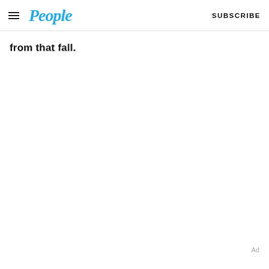People — SUBSCRIBE
from that fall.
Ad